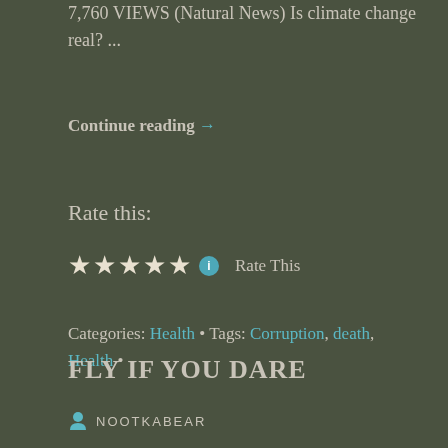7,760 VIEWS (Natural News) Is climate change real? ...
Continue reading →
Rate this:
[Figure (other): Five-star rating widget with info button and 'Rate This' label]
Categories: Health • Tags: Corruption, death, Health •
FLY IF YOU DARE
NOOTKABEAR